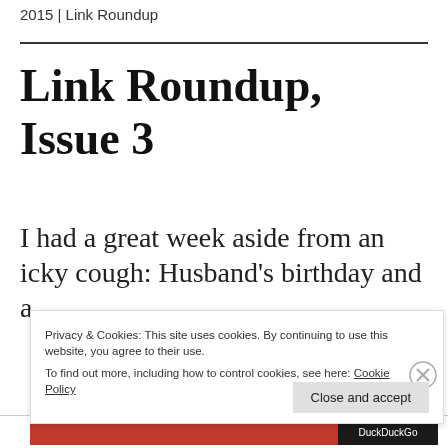2015 | Link Roundup
Link Roundup, Issue 3
I had a great week aside from an icky cough: Husband's birthday and a
Privacy & Cookies: This site uses cookies. By continuing to use this website, you agree to their use.
To find out more, including how to control cookies, see here: Cookie Policy
Close and accept